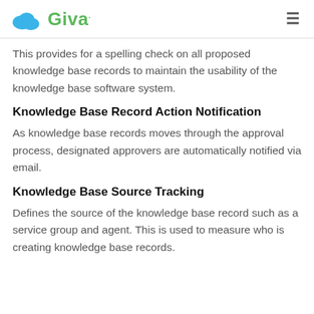Giva
This provides for a spelling check on all proposed knowledge base records to maintain the usability of the knowledge base software system.
Knowledge Base Record Action Notification
As knowledge base records moves through the approval process, designated approvers are automatically notified via email.
Knowledge Base Source Tracking
Defines the source of the knowledge base record such as a service group and agent. This is used to measure who is creating knowledge base records.